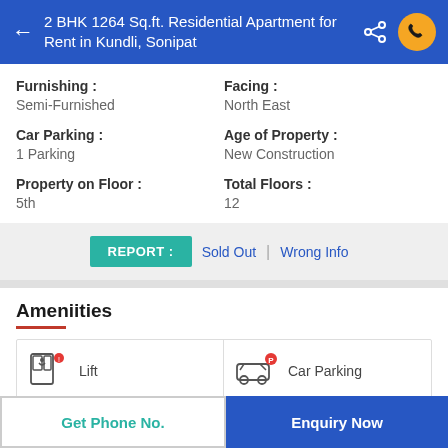2 BHK 1264 Sq.ft. Residential Apartment for Rent in Kundli, Sonipat
Furnishing : Semi-Furnished
Facing : North East
Car Parking : 1 Parking
Age of Property : New Construction
Property on Floor : 5th
Total Floors : 12
REPORT : Sold Out | Wrong Info
Ameniities
Lift
Car Parking